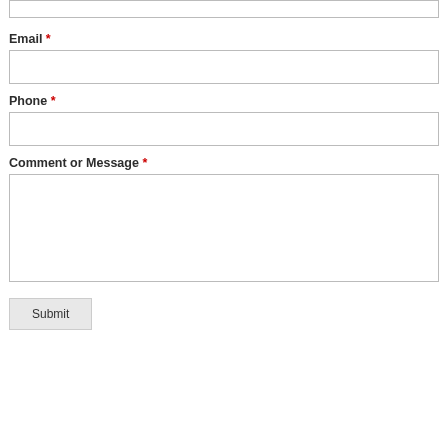[Figure (screenshot): A web contact form partially visible, showing fields for Email, Phone, Comment or Message, and a Submit button. Each field has a red asterisk indicating it is required.]
Email *
Phone *
Comment or Message *
Submit